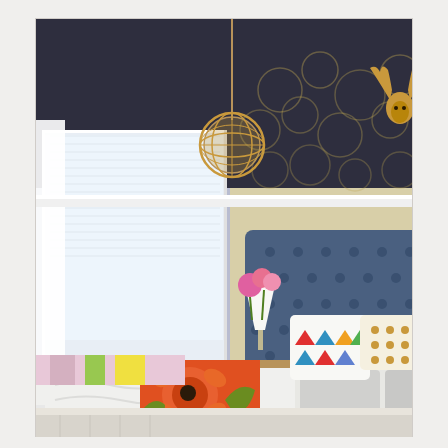[Figure (photo): Interior bedroom photo featuring a dark charcoal/navy painted ceiling, a large window with white roller shades and sheer white curtains, a gold orb pendant light hanging from the ceiling, cream/gold circle-pattern wallpaper on the accent wall, a gold deer head wall mount, a large tufted dusty-blue velvet headboard, a bed with white bedding, colorful accent pillows (geometric triangle pattern, gold polka dot), a vibrant orange and green floral throw blanket, pink flowers in a white vase on the nightstand, and a white table lamp.]